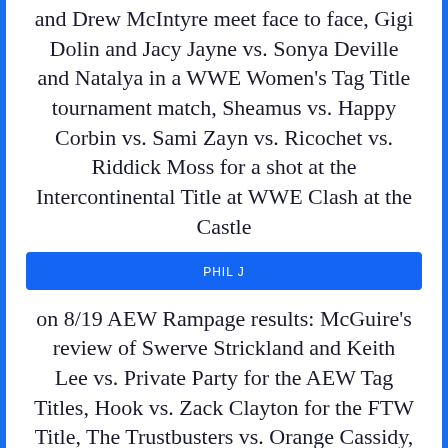and Drew McIntyre meet face to face, Gigi Dolin and Jacy Jayne vs. Sonya Deville and Natalya in a WWE Women's Tag Title tournament match, Sheamus vs. Happy Corbin vs. Sami Zayn vs. Ricochet vs. Riddick Moss for a shot at the Intercontinental Title at WWE Clash at the Castle
PHIL J
on 8/19 AEW Rampage results: McGuire's review of Swerve Strickland and Keith Lee vs. Private Party for the AEW Tag Titles, Hook vs. Zack Clayton for the FTW Title, The Trustbusters vs. Orange Cassidy, Trent Beretta, and Chuck Taylor in an AEW Trios Titles tournament match, Penelope Ford vs. Athena